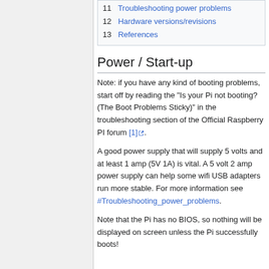11  Troubleshooting power problems
12  Hardware versions/revisions
13  References
Power / Start-up
Note: if you have any kind of booting problems, start off by reading the "Is your Pi not booting? (The Boot Problems Sticky)" in the troubleshooting section of the Official Raspberry PI forum [1].
A good power supply that will supply 5 volts and at least 1 amp (5V 1A) is vital. A 5 volt 2 amp power supply can help some wifi USB adapters run more stable. For more information see #Troubleshooting_power_problems.
Note that the Pi has no BIOS, so nothing will be displayed on screen unless the Pi successfully boots!